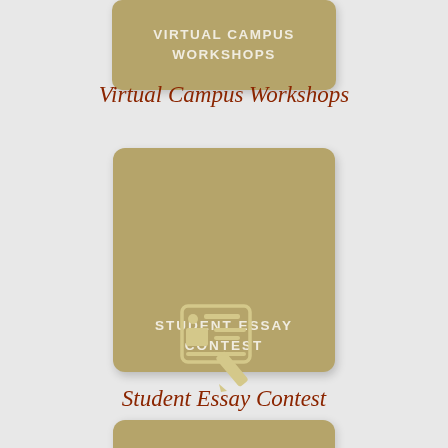[Figure (illustration): Partial golden-tan rounded square icon with text 'VIRTUAL CAMPUS WORKSHOPS' in white uppercase letters, cropped at top of page]
Virtual Campus Workshops
[Figure (illustration): Golden-tan rounded square icon featuring a document/essay with pencil graphic in lighter tan, with text 'STUDENT ESSAY CONTEST' in white uppercase letters at the bottom]
Student Essay Contest
[Figure (illustration): Partial golden-tan rounded square icon, cropped at the bottom of the page]